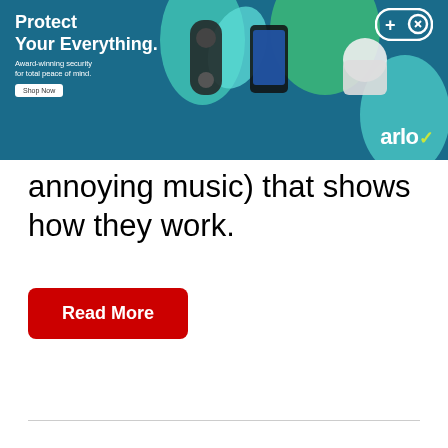[Figure (advertisement): Arlo security camera advertisement banner with teal/green background, showing camera devices, a doorbell, phone, and small camera. Text: 'Protect Your Everything. Award-winning security for total peace of mind. Shop Now'. Arlo logo with checkmark symbol and gamepad icon in top right.]
annoying music) that shows how they work.
Read More